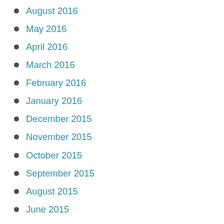August 2016
May 2016
April 2016
March 2016
February 2016
January 2016
December 2015
November 2015
October 2015
September 2015
August 2015
June 2015
May 2015
April 2015
March 2015
February 2015
January 2015
December 2014
November 2014
October 2014
September 2014
August 2014